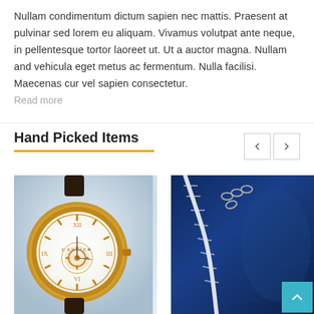Nullam condimentum dictum sapien nec mattis. Praesent at pulvinar sed lorem eu aliquam. Vivamus volutpat ante neque, in pellentesque tortor laoreet ut. Ut a auctor magna. Nullam and vehicula eget metus ac fermentum. Nulla facilisi. Maecenas cur vel sapien consectetur.
Read more
Hand Picked Items
[Figure (photo): Close-up photo of a Cartier rose gold luxury watch with open heart mechanism, white dial with Roman numerals, on white fabric background]
[Figure (photo): Close-up photo of a blue leather luxury handbag with silver chain hardware and white rope/cord handles against dark background]